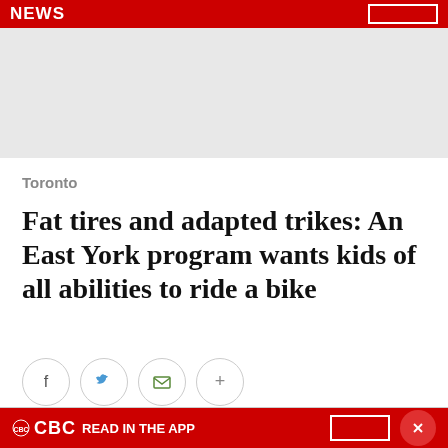NEWS
[Figure (other): Grey advertisement placeholder block]
Toronto
Fat tires and adapted trikes: An East York program wants kids of all abilities to ride a bike
[Figure (infographic): Social sharing icons: Facebook, Twitter, Email, More (+)]
CBC READ IN THE APP